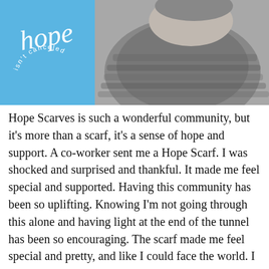[Figure (photo): Left half: blue square logo with handwritten 'hope' text and circular text 'isn't canceled'. Right half: black and white photo of a person wearing a chunky knit turtleneck scarf, face partially visible from above.]
Hope Scarves is such a wonderful community, but it's more than a scarf, it's a sense of hope and support. A co-worker sent me a Hope Scarf. I was shocked and surprised and thankful. It made me feel special and supported. Having this community has been so uplifting. Knowing I'm not going through this alone and having light at the end of the tunnel has been so encouraging. The scarf made me feel special and pretty, and like I could face the world. I have since sent others Hope Scarves. When you send someone a scarf it just lets them know they are not alone.